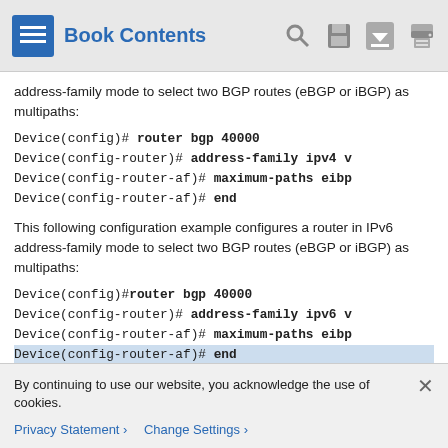Book Contents
address-family mode to select two BGP routes (eBGP or iBGP) as multipaths:
Device(config)# router bgp 40000
Device(config-router)# address-family ipv4 v
Device(config-router-af)# maximum-paths eibp
Device(config-router-af)# end
This following configuration example configures a router in IPv6 address-family mode to select two BGP routes (eBGP or iBGP) as multipaths:
Device(config)#router bgp 40000
Device(config-router)# address-family ipv6 v
Device(config-router-af)# maximum-paths eibp
Device(config-router-af)# end
By continuing to use our website, you acknowledge the use of cookies.
Privacy Statement > Change Settings >